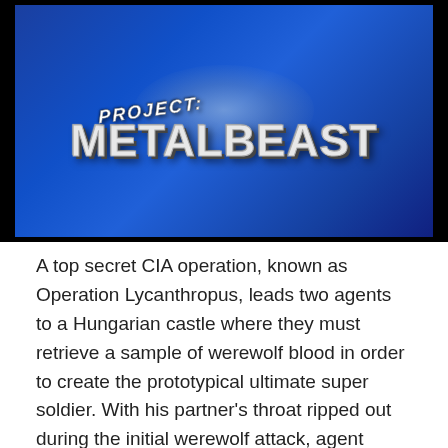[Figure (screenshot): A movie title card screenshot showing 'PROJECT: METALBEAST' text on a dark blue background with a glowing light source behind the text.]
A top secret CIA operation, known as Operation Lycanthropus, leads two agents to a Hungarian castle where they must retrieve a sample of werewolf blood in order to create the prototypical ultimate super soldier. With his partner's throat ripped out during the initial werewolf attack, agent Butler manages to retrieve a sample after